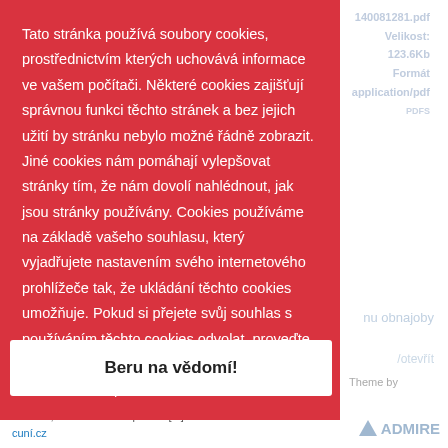[Figure (screenshot): Cookie consent overlay (red background) with Czech-language cookie notice text and 'Beru na vědomí!' button, overlaid on a document/webpage background with watermark text including file metadata and page content.]
Tato stránka používá soubory cookies, prostřednictvím kterých uchovává informace ve vašem počítači. Některé cookies zajišťují správnou funkci těchto stránek a bez jejich užití by stránku nebylo možné řádně zobrazit. Jiné cookies nám pomáhají vylepšovat stránky tím, že nám dovolí nahlédnout, jak jsou stránky používány. Cookies používáme na základě vašeho souhlasu, který vyjadřujete nastavením svého internetového prohlížeče tak, že ukládání těchto cookies umožňuje. Pokud si přejete svůj souhlas s používáním těchto cookies odvolat, proveďte prosím příslušné nastavení vašeho internetového prohlížeče.
Beru na vědomí!
© 2017 Univerzite Karlove. Theme by Kntactus. Ovocný trh 560/5, 116 36 Praha 1, email: admin-repozitar [at] cuní.cz